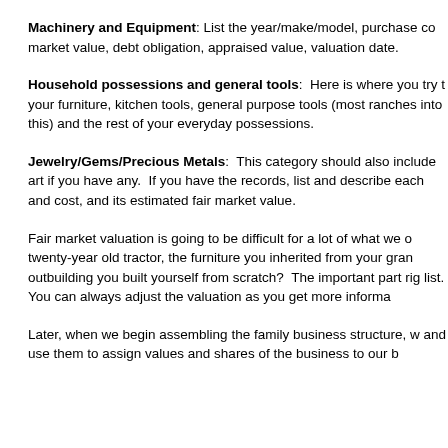Machinery and Equipment: List the year/make/model, purchase co market value, debt obligation, appraised value, valuation date.
Household possessions and general tools: Here is where you try your furniture, kitchen tools, general purpose tools (most ranches into this) and the rest of your everyday possessions.
Jewelry/Gems/Precious Metals: This category should also include art if you have any. If you have the records, list and describe each and cost, and its estimated fair market value.
Fair market valuation is going to be difficult for a lot of what we o twenty-year old tractor, the furniture you inherited from your gran outbuilding you built yourself from scratch? The important part rig list. You can always adjust the valuation as you get more informa
Later, when we begin assembling the family business structure, w and use them to assign values and shares of the business to our b